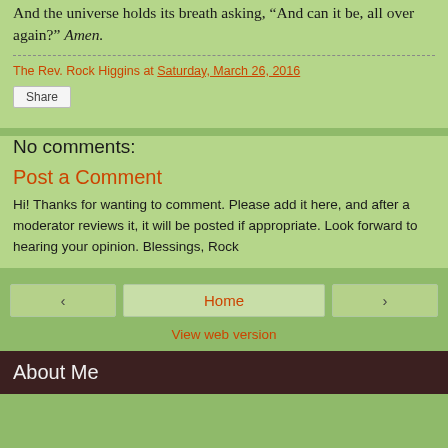And the universe holds its breath asking, "And can it be, all over again?" Amen.
The Rev. Rock Higgins at Saturday, March 26, 2016
Share
No comments:
Post a Comment
Hi! Thanks for wanting to comment. Please add it here, and after a moderator reviews it, it will be posted if appropriate. Look forward to hearing your opinion. Blessings, Rock
Home
View web version
About Me